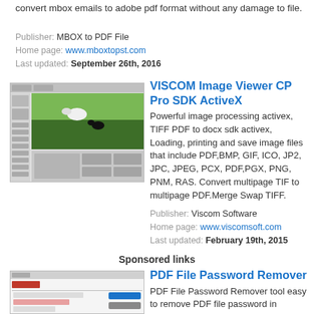convert mbox emails to adobe pdf format without any damage to file.
Publisher: MBOX to PDF File
Home page: www.mboxtopst.com
Last updated: September 26th, 2016
[Figure (screenshot): VISCOM Image Viewer CP Pro SDK ActiveX software screenshot thumbnail]
VISCOM Image Viewer CP Pro SDK ActiveX
Powerful image processing activex, TIFF PDF to docx sdk activex, Loading, printing and save image files that include PDF,BMP, GIF, ICO, JP2, JPC, JPEG, PCX, PDF,PGX, PNG, PNM, RAS. Convert multipage TIF to multipage PDF.Merge Swap TIFF.
Publisher: Viscom Software
Home page: www.viscomsoft.com
Last updated: February 19th, 2015
Sponsored links
[Figure (screenshot): PDF File Password Remover software screenshot thumbnail]
PDF File Password Remover
PDF File Password Remover tool easy to remove PDF file password in seconds. With the help of PDF password remover software all consumers can great fully remove PDF password. PDF security remover gives best tool for removing PDF password.